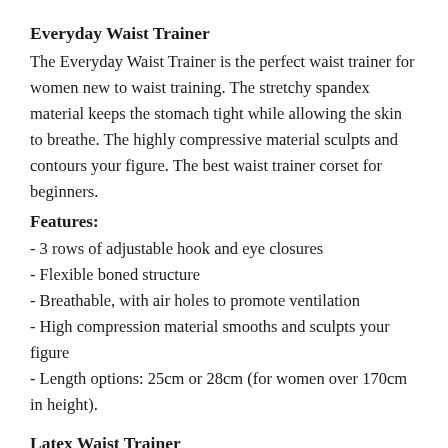Everyday Waist Trainer
The Everyday Waist Trainer is the perfect waist trainer for women new to waist training. The stretchy spandex material keeps the stomach tight while allowing the skin to breathe. The highly compressive material sculpts and contours your figure. The best waist trainer corset for beginners.
Features:
- 3 rows of adjustable hook and eye closures
- Flexible boned structure
- Breathable, with air holes to promote ventilation
- High compression material smooths and sculpts your figure
- Length options: 25cm or 28cm (for women over 170cm in height).
Latex Waist Trainer
The Latex Waist Trainer is perfect for women who have